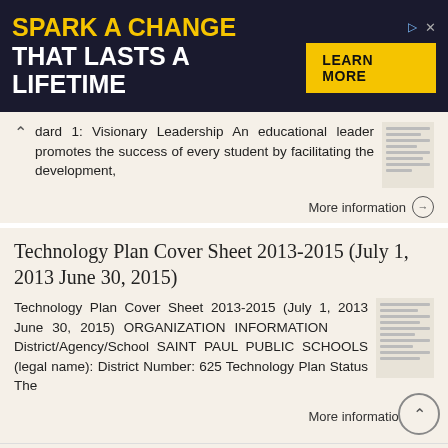[Figure (other): Advertisement banner: dark navy background with yellow text 'SPARK A CHANGE' and white text 'THAT LASTS A LIFETIME', yellow 'LEARN MORE' button on right, with ad controls icons.]
dard 1: Visionary Leadership An educational leader promotes the success of every student by facilitating the development,
More information →
Technology Plan Cover Sheet 2013-2015 (July 1, 2013 June 30, 2015)
Technology Plan Cover Sheet 2013-2015 (July 1, 2013 June 30, 2015) ORGANIZATION INFORMATION District/Agency/School SAINT PAUL PUBLIC SCHOOLS (legal name): District Number: 625 Technology Plan Status The
More information →
Under...